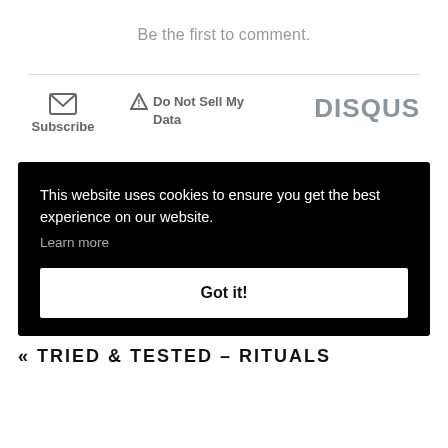Be the first to comment.
Subscribe
Do Not Sell My Data
[Figure (logo): DISQUS logo in bold grey text]
This website uses cookies to ensure you get the best experience on our website. Learn more
Got it!
« TRIED & TESTED – RITUALS